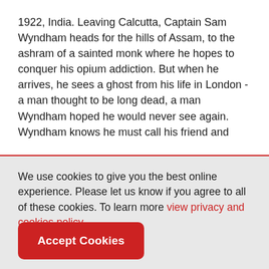1922, India. Leaving Calcutta, Captain Sam Wyndham heads for the hills of Assam, to the ashram of a sainted monk where he hopes to conquer his opium addiction. But when he arrives, he sees a ghost from his life in London - a man thought to be long dead, a man Wyndham hoped he would never see again.

Wyndham knows he must call his friend and
We use cookies to give you the best online experience. Please let us know if you agree to all of these cookies. To learn more view privacy and cookies policy.
Accept Cookies